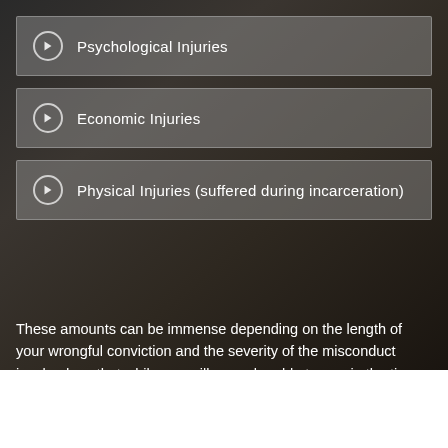Psychological Injuries
Economic Injuries
Physical Injuries (suffered during incarceration)
These amounts can be immense depending on the length of your wrongful conviction and the severity of the misconduct involved, so that while you will never be able to regain the time you have lost, it may be possible to begin to have a life again.